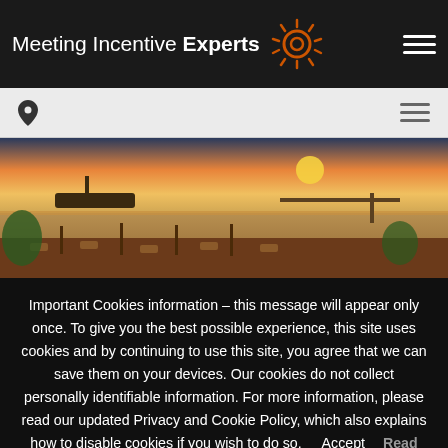Meeting Incentive Experts
[Figure (photo): Waterfront marina at sunset with outdoor dining area and dock]
Important Cookies information – this message will appear only once. To give you the best possible experience, this site uses cookies and by continuing to use this site, you agree that we can save them on your devices. Our cookies do not collect personally identifiable information. For more information, please read our updated Privacy and Cookie Policy, which also explains how to disable cookies if you wish to do so.
Accept   Read More